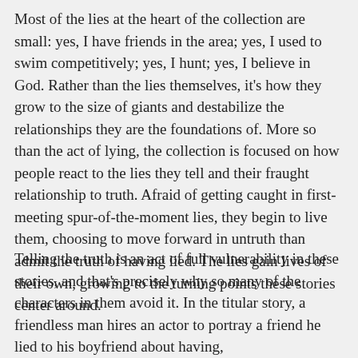Most of the lies at the heart of the collection are small: yes, I have friends in the area; yes, I used to swim competitively; yes, I hunt; yes, I believe in God. Rather than the lies themselves, it's how they grow to the size of giants and destabilize the relationships they are the foundations of. More so than the act of lying, the collection is focused on how people react to the lies they tell and their fraught relationship to truth. Afraid of getting caught in first-meeting spur-of-the-moment lies, they begin to live them, choosing to move forward in untruth than admit the truth of having lied. The lies gain lives of their own, growing to the turning points these stories center around.
Telling the truth is an act of full vulnerability in these stories, and that's precisely why so many of the characters in them avoid it. In the titular story, a friendless man hires an actor to portray a friend he lied to his boyfriend about having,